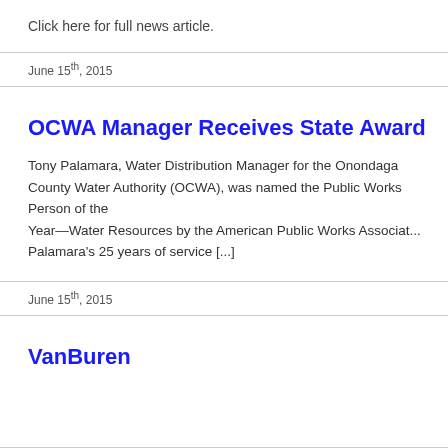Click here for full news article.
June 15th, 2015
OCWA Manager Receives State Award
Tony Palamara, Water Distribution Manager for the Onondaga County Water Authority (OCWA), was named the Public Works Person of the Year—Water Resources by the American Public Works Association. This award recognizes Palamara's 25 years of service [...]
June 15th, 2015
VanBuren